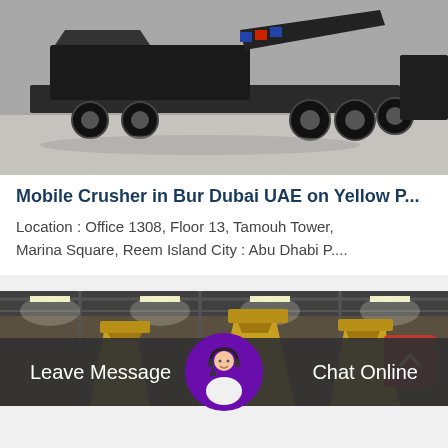[Figure (photo): Mobile crusher machine on a truck chassis, shown in an industrial warehouse. The machine is dark/black colored with some colorful stripes (blue, red). Grayscale toned photo.]
Mobile Crusher in Bur Dubai UAE on Yellow P...
Location : Office 1308, Floor 13, Tamouh Tower, Marina Square, Reem Island City : Abu Dhabi P....
[Figure (photo): Cone crusher machines inside a factory/warehouse. Large yellow cone-shaped grinding machines are visible under a steel roof structure with fluorescent lighting.]
Leave Message
Chat Online